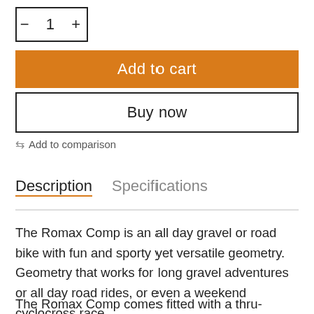— 1 +
Add to cart
Buy now
⇆ Add to comparison
Description   Specifications
The Romax Comp is an all day gravel or road bike with fun and sporty yet versatile geometry. Geometry that works for long gravel adventures or all day road rides, or even a weekend cyclocross race.
The Romax Comp comes fitted with a thru-axle and an 11-Speed Shimano GRX